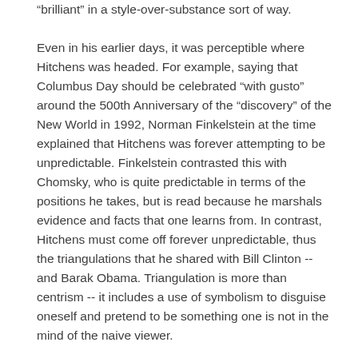“brilliant” in a style-over-substance sort of way.
Even in his earlier days, it was perceptible where Hitchens was headed. For example, saying that Columbus Day should be celebrated "with gusto" around the 500th Anniversary of the "discovery" of the New World in 1992, Norman Finkelstein at the time explained that Hitchens was forever attempting to be unpredictable. Finkelstein contrasted this with Chomsky, who is quite predictable in terms of the positions he takes, but is read because he marshals evidence and facts that one learns from. In contrast, Hitchens must come off forever unpredictable, thus the triangulations that he shared with Bill Clinton -- and Barak Obama. Triangulation is more than centrism -- it includes a use of symbolism to disguise oneself and pretend to be something one is not in the mind of the naive viewer.